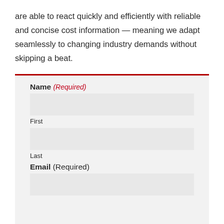are able to react quickly and efficiently with reliable and concise cost information — meaning we adapt seamlessly to changing industry demands without skipping a beat.
Name (Required)
First
Last
Email (Required)